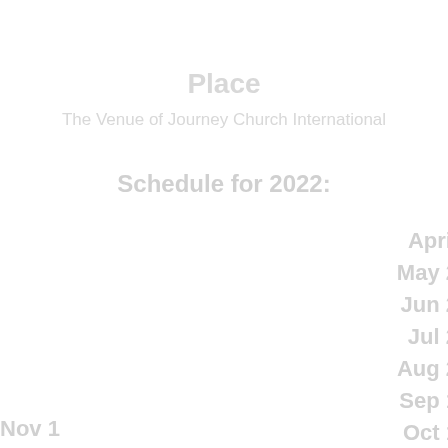Place
The Venue of Journey Church International
Schedule for 2022:
April
May 2
Jun 2
Jul 2
Aug 2
Sep 1
Oct 1
Nov 1